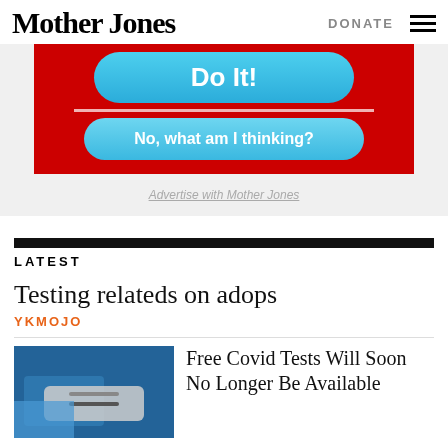Mother Jones
DONATE
[Figure (screenshot): Advertisement banner with red background showing a blue rounded button labeled 'Do It!' and another blue rounded button labeled 'No, what am I thinking?']
Advertise with Mother Jones
LATEST
Testing relateds on adops
YKMOJO
Free Covid Tests Will Soon No Longer Be Available